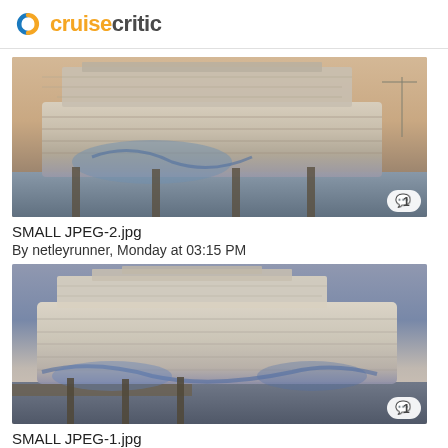cruisecritic
[Figure (photo): Large cruise ship docked at port, viewed from the side. The ship has a distinctive whale/ocean mural on its hull. Multiple decks visible. Dusk/dawn lighting with warm sky tones. Comment badge showing '1' in bottom right corner.]
SMALL JPEG-2.jpg
By netleyrunner, Monday at 03:15 PM
[Figure (photo): Same or similar large cruise ship at port, viewed from a slightly different angle showing more of the bow. Overcast sky with soft pink/purple dusk tones. Ship has distinctive white/blue ocean mural on hull. Dock pilings and pier visible in foreground. Comment badge showing '1' in bottom right corner.]
SMALL JPEG-1.jpg